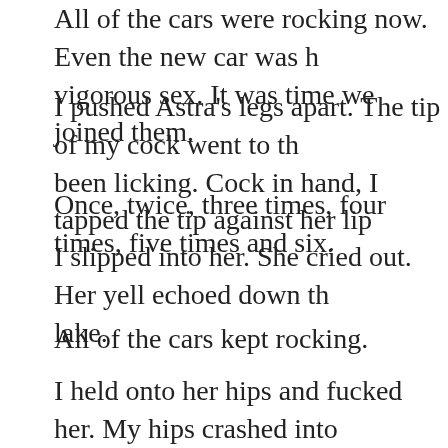All of the cars were rocking now. Even the new car was having vigorous sex. It was time we joined them.
I pushed Astra's legs apart. The tip of my cock went to the place I'd been licking. Cock in hand, I tapped the tip against her lip
Once, twice, three times, four times, five times and six.
I slipped into her. She cried out. Her yell echoed down the lake.
All of the cars kept rocking.
I held onto her hips and fucked her. My hips crashed into The car shook with the force of our fucking.
Did the people inside the car notice their car was rocking look up to see Astra's plump breasts pressed against th